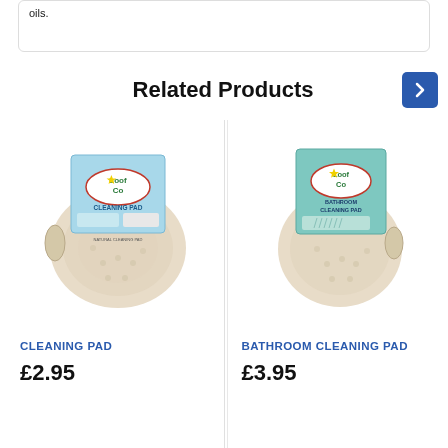oils.
Related Products
[Figure (photo): LoofCo Cleaning Pad product image showing a natural loofah cleaning pad with product packaging label]
CLEANING PAD
£2.95
[Figure (photo): LoofCo Bathroom Cleaning Pad product image showing a natural loofah bathroom cleaning pad with teal packaging label]
BATHROOM CLEANING PAD
£3.95